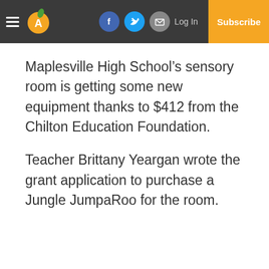Maplesville Advertiser-Gleam | Log In | Subscribe
Maplesville High School’s sensory room is getting some new equipment thanks to $412 from the Chilton Education Foundation.
Teacher Brittany Yeargan wrote the grant application to purchase a Jungle JumpaRoo for the room.